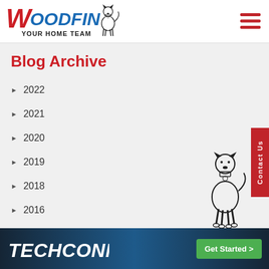[Figure (logo): Woodfin Your Home Team logo with German Shepherd dog mascot and red/blue text]
[Figure (illustration): Hamburger menu icon with three dark red horizontal lines]
Blog Archive
2022
2021
2020
2019
2018
2017
2016
[Figure (illustration): German Shepherd dog mascot standing, black and white illustration]
Contact Us
[Figure (logo): TechConnect logo in italic white bold text on dark blue/navy gradient background]
Get Started >